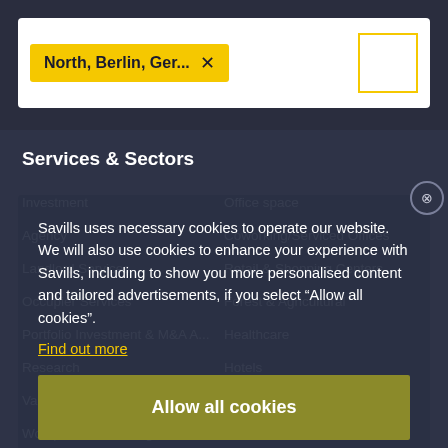[Figure (screenshot): Search bar with location tag 'North, Berlin, Ger...' with X close button, and a filter icon button with yellow border on the right]
Services & Sectors
Investment
Office space
Agency
Coworking/Serviced Offices
Landlord Services
Retail & Shopping Centers
Occupier Services
Forest & Agricultural
Portfolio Investment & M&A A...
Healthcare
Research
Hotels
Valuation
Industrial & Logistics
Workplace Consulting
Student Accommodation
Property Management
Residential
Facility Management
Residential Agency
Savills uses necessary cookies to operate our website. We will also use cookies to enhance your experience with Savills, including to show you more personalised content and tailored advertisements, if you select "Allow all cookies".
Find out more
Allow all cookies